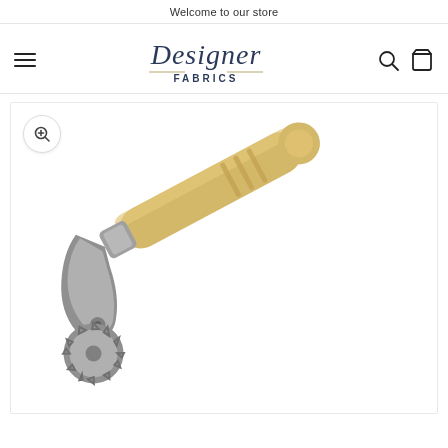Welcome to our store
[Figure (logo): Designer Fabrics logo with cursive script and decorative underline]
[Figure (photo): A sewing tracing wheel / pattern tracing tool with a wooden cylindrical handle and a serrated metal wheel at the end, photographed on a white background]